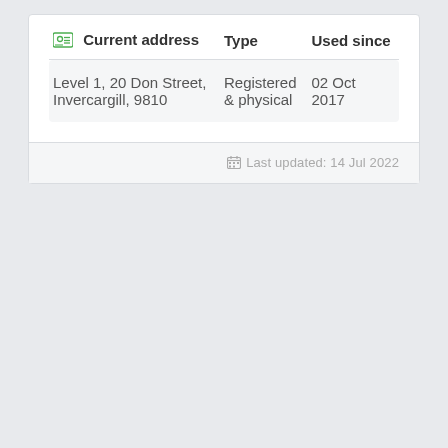| Current address | Type | Used since |
| --- | --- | --- |
| Level 1, 20 Don Street, Invercargill, 9810 | Registered & physical | 02 Oct 2017 |
Last updated: 14 Jul 2022